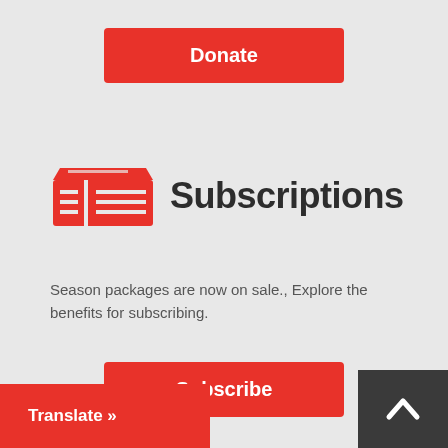[Figure (other): Red 'Donate' button]
[Figure (other): Red ticket/subscriptions icon with horizontal lines]
Subscriptions
Season packages are now on sale., Explore the benefits for subscribing.
[Figure (other): Red 'Subscribe' button]
[Figure (other): Red 'Translate »' button at bottom left]
[Figure (other): Dark grey back-to-top chevron button at bottom right]